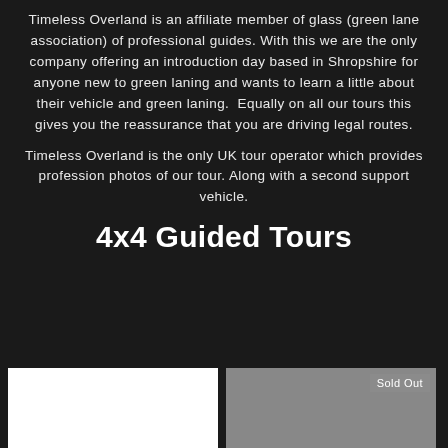Timeless Overland is an affiliate member of glass (green lane association) of professional guides. With this we are the only company offering an introduction day based in Shropshire for anyone new to green laning and wants to learn a little about their vehicle and green laning. Equally on all our tours this gives you the reassurance that you are driving legal routes.
Timeless Overland is the only UK tour operator which provides profession photos of our tour. Along with a second support vehicle.
4x4 Guided Tours
[Figure (photo): White/blank image placeholder on the left]
[Figure (photo): Gray image placeholder on the right with a 'Sold Out' badge in the top-right corner]